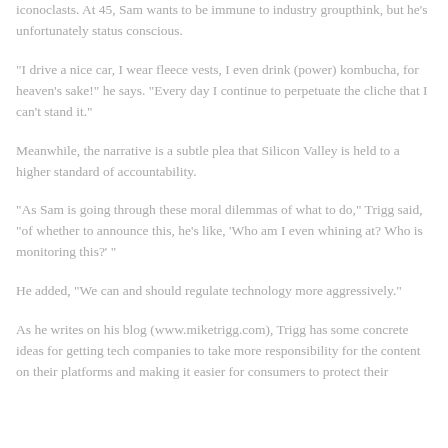iconoclasts. At 45, Sam wants to be immune to industry groupthink, but he's unfortunately status conscious.
"I drive a nice car, I wear fleece vests, I even drink (power) kombucha, for heaven's sake!" he says. "Every day I continue to perpetuate the cliche that I can't stand it."
Meanwhile, the narrative is a subtle plea that Silicon Valley is held to a higher standard of accountability.
"As Sam is going through these moral dilemmas of what to do," Trigg said, "of whether to announce this, he's like, 'Who am I even whining at? Who is monitoring this?' "
He added, "We can and should regulate technology more aggressively."
As he writes on his blog (www.miketrigg.com), Trigg has some concrete ideas for getting tech companies to take more responsibility for the content on their platforms and making it easier for consumers to protect their